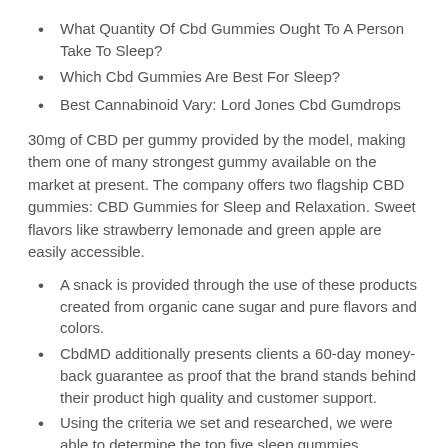What Quantity Of Cbd Gummies Ought To A Person Take To Sleep?
Which Cbd Gummies Are Best For Sleep?
Best Cannabinoid Vary: Lord Jones Cbd Gumdrops
30mg of CBD per gummy provided by the model, making them one of many strongest gummy available on the market at present. The company offers two flagship CBD gummies: CBD Gummies for Sleep and Relaxation. Sweet flavors like strawberry lemonade and green apple are easily accessible.
A snack is provided through the use of these products created from organic cane sugar and pure flavors and colors.
CbdMD additionally presents clients a 60-day money-back guarantee as proof that the brand stands behind their product high quality and customer support.
Using the criteria we set and researched, we were able to determine the top five sleep gummies presently available in the marketplace.